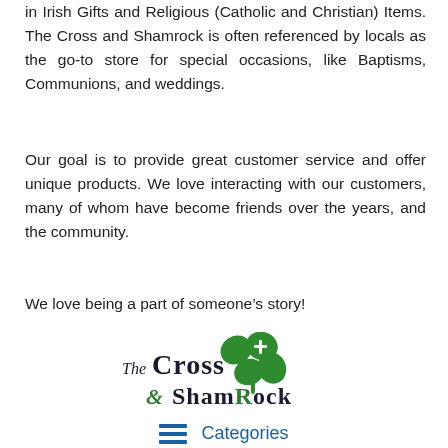in Irish Gifts and Religious (Catholic and Christian) Items. The Cross and Shamrock is often referenced by locals as the go-to store for special occasions, like Baptisms, Communions, and weddings.
Our goal is to provide great customer service and offer unique products. We love interacting with our customers, many of whom have become friends over the years, and the community.
We love being a part of someone’s story!
[Figure (logo): The Cross & Shamrock logo: stylized text reading 'The Cross & Shamrock' with a green shamrock icon featuring a white cross on the top-right leaf]
Categories